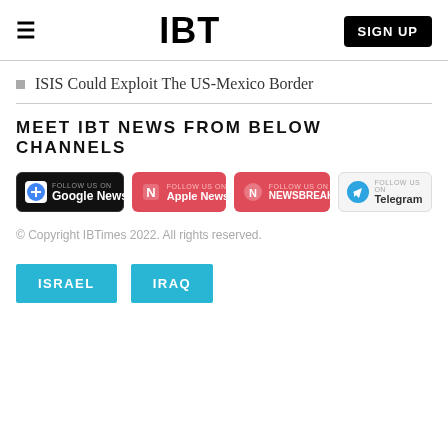IBT | SIGN UP
ISIS Could Exploit The US-Mexico Border
MEET IBT NEWS FROM BELOW CHANNELS
[Figure (logo): Four channel follow buttons: Google News (black), Apple News (red), Newsbreak (red), Telegram (light gray)]
© Copyright IBTimes 2022. All rights reserved.
ISRAEL
IRAQ